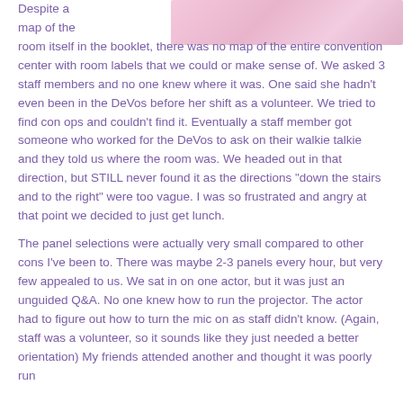[Figure (photo): Partial photo visible at top right of the page, showing a pink/peach toned image, likely a person or scene from a convention.]
Despite a map of the room itself in the booklet, there was no map of the entire convention center with room labels that we could or make sense of. We asked 3 staff members and no one knew where it was. One said she hadn't even been in the DeVos before her shift as a volunteer. We tried to find con ops and couldn't find it. Eventually a staff member got someone who worked for the DeVos to ask on their walkie talkie and they told us where the room was. We headed out in that direction, but STILL never found it as the directions "down the stairs and to the right" were too vague. I was so frustrated and angry at that point we decided to just get lunch.
The panel selections were actually very small compared to other cons I've been to. There was maybe 2-3 panels every hour, but very few appealed to us. We sat in on one actor, but it was just an unguided Q&A. No one knew how to run the projector. The actor had to figure out how to turn the mic on as staff didn't know. (Again, staff was a volunteer, so it sounds like they just needed a better orientation) My friends attended another and thought it was poorly run